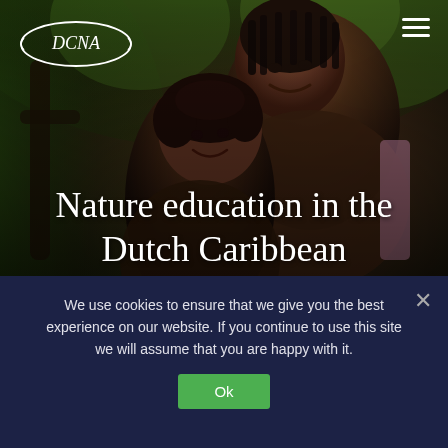[Figure (photo): Two young Black girls hugging outdoors among green foliage, smiling warmly. The older girl embraces the younger one from behind. Background is lush green trees.]
Nature education in the Dutch Caribbean
We use cookies to ensure that we give you the best experience on our website. If you continue to use this site we will assume that you are happy with it.